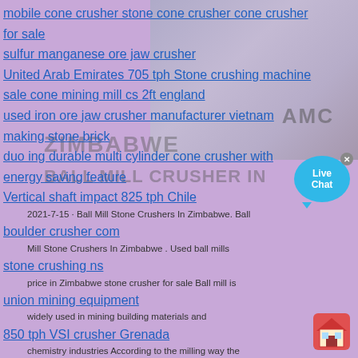mobile cone crusher stone cone crusher cone crusher for sale
sulfur manganese ore jaw crusher
United Arab Emirates 705 tph Stone crushing machine
sale cone mining mill cs 2ft england
used iron ore jaw crusher manufacturer vietnam
making stone brick
duo ing durable multi cylinder cone crusher with energy saving feature
Vertical shaft impact 825 tph Chile
2021-7-15 · Ball Mill Stone Crushers In Zimbabwe. Ball Mill Stone Crushers In Zimbabwe . Used ball mills price in Zimbabwe stone crusher for sale Ball mill is widely used in mining building materials and chemistry industries According to the milling way the ball mill can be divided into dry and wet types. ballmill for sale in zim XSM Stone Crusher Machine - Stone jaw crusher Cone
boulder crusher com
stone crushing ns
union mining equipment
850 tph VSI crusher Grenada
silver recovery gold mining product high frequency
mobile crushing frame
hazemag el ls crusher
stone crushers layou T ideas
Egypt Aggregate crusher 330 tph